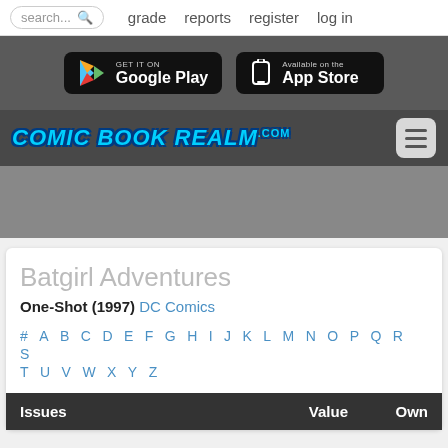search... grade reports register log in
[Figure (logo): Google Play and App Store download buttons on dark grey background]
[Figure (logo): Comic Book Realm .com logo with hamburger menu icon]
Batgirl Adventures
One-Shot (1997) DC Comics
# A B C D E F G H I J K L M N O P Q R S T U V W X Y Z
| Issues | Value | Own |
| --- | --- | --- |